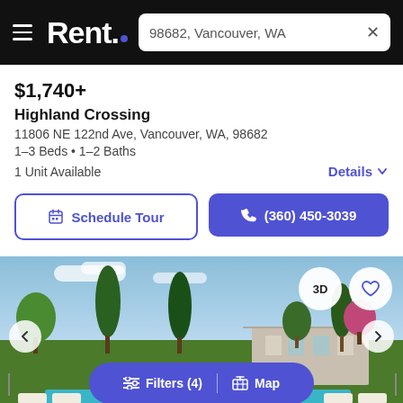Rent. | 98682, Vancouver, WA
$1,740+
Highland Crossing
11806 NE 122nd Ave, Vancouver, WA, 98682
1–3 Beds • 1–2 Baths
1 Unit Available
Details
Schedule Tour
(360) 450-3039
[Figure (photo): Outdoor pool area with lounge chairs, green lawn, tall evergreen trees, residential buildings, and blue sky with clouds. Navigation arrows on sides. 3D and heart buttons in upper right.]
Filters (4) | Map